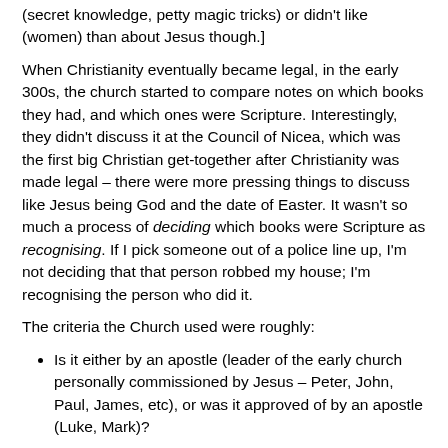(secret knowledge, petty magic tricks) or didn't like (women) than about Jesus though.]
When Christianity eventually became legal, in the early 300s, the church started to compare notes on which books they had, and which ones were Scripture. Interestingly, they didn't discuss it at the Council of Nicea, which was the first big Christian get-together after Christianity was made legal – there were more pressing things to discuss like Jesus being God and the date of Easter. It wasn't so much a process of deciding which books were Scripture as recognising. If I pick someone out of a police line up, I'm not deciding that that person robbed my house; I'm recognising the person who did it.
The criteria the Church used were roughly:
Is it either by an apostle (leader of the early church personally commissioned by Jesus – Peter, John, Paul, James, etc), or was it approved of by an apostle (Luke, Mark)?
Does it fit with the rest of the apostolic teaching?